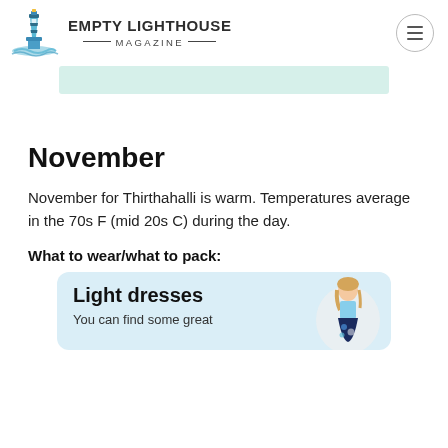EMPTY LIGHTHOUSE MAGAZINE
[Figure (other): Light teal/mint colored banner advertisement placeholder]
November
November for Thirthahalli is warm. Temperatures average in the 70s F (mid 20s C) during the day.
What to wear/what to pack:
[Figure (other): Product card with light blue background showing Light dresses with a photo of a woman in a floral dress. Text: Light dresses / You can find some great]